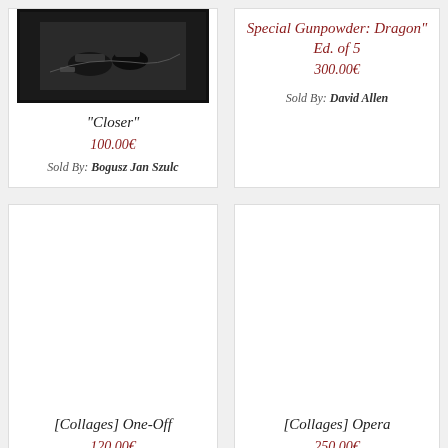[Figure (photo): Black and white photograph in dark frame showing abstract shapes]
“Closer”
100.00€
Sold By: Bogusz Jan Szulc
Special Gunpowder: Dragon” Ed. of 5
300.00€
Sold By: David Allen
[Figure (photo): Blank white artwork image area]
[Collages] One-Off
120.00€
[Figure (photo): Blank white artwork image area]
[Collages] Opera
250.00€